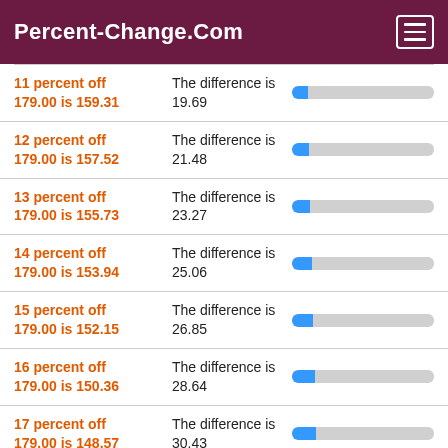Percent-Change.Com
11 percent off 179.00 is 159.31 | The difference is 19.69
12 percent off 179.00 is 157.52 | The difference is 21.48
13 percent off 179.00 is 155.73 | The difference is 23.27
14 percent off 179.00 is 153.94 | The difference is 25.06
15 percent off 179.00 is 152.15 | The difference is 26.85
16 percent off 179.00 is 150.36 | The difference is 28.64
17 percent off 179.00 is 148.57 | The difference is 30.43